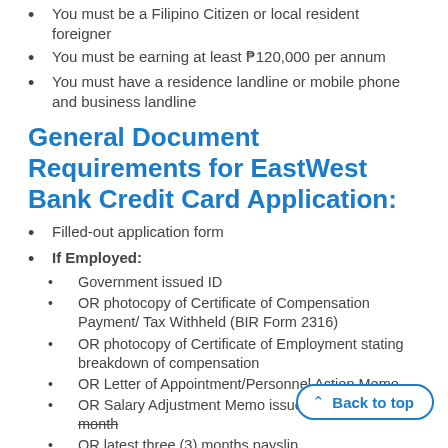You must be a Filipino Citizen or local resident foreigner
You must be earning at least ₱120,000 per annum
You must have a residence landline or mobile phone and business landline
General Document Requirements for EastWest Bank Credit Card Application:
Filled-out application form
If Employed:
Government issued ID
OR photocopy of Certificate of Compensation Payment/ Tax Withheld (BIR Form 2316)
OR photocopy of Certificate of Employment stating breakdown of compensation
OR Letter of Appointment/Personnel Action Memo
OR Salary Adjustment Memo issued within the latest month
OR latest three (3) months payslip